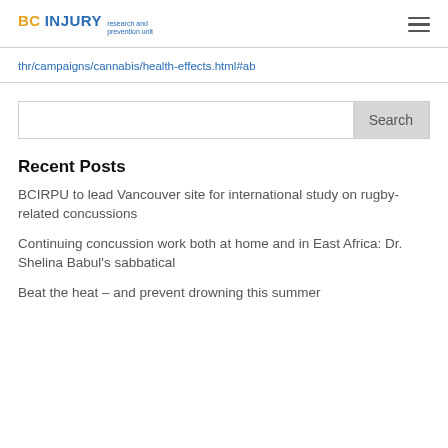BC INJURY research and prevention unit
thr/campaigns/cannabis/health-effects.html#ab
Search
Recent Posts
BCIRPU to lead Vancouver site for international study on rugby-related concussions
Continuing concussion work both at home and in East Africa: Dr. Shelina Babul’s sabbatical
Beat the heat – and prevent drowning this summer